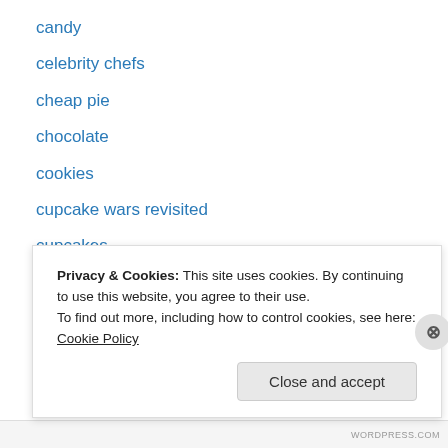candy
celebrity chefs
cheap pie
chocolate
cookies
cupcake wars revisited
cupcakes
DC desserts
donuts
drinks
Food Network
food truck
French desserts
Privacy & Cookies: This site uses cookies. By continuing to use this website, you agree to their use.
To find out more, including how to control cookies, see here: Cookie Policy
Close and accept